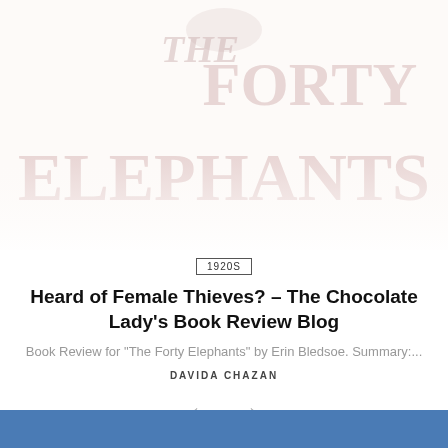[Figure (illustration): Faded watermark-style book cover image of 'The Forty Elephants' showing large stylized text 'THE FORTY ELEPHANTS' in a light pink/rose color against a cream background, partially visible]
1920S
Heard of Female Thieves? – The Chocolate Lady's Book Review Blog
Book Review for "The Forty Elephants" by Erin Bledsoe. Summary:...
DAVIDA CHAZAN
[Figure (illustration): Navigation arrows: left arrow and right arrow for carousel navigation]
[Figure (photo): Bottom portion of page showing a blue banner/bar, and the very top of what appears to be a person's hair/head photo below]